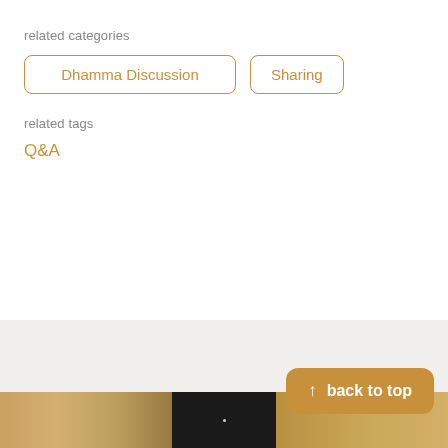related categories
Dhamma Discussion
Sharing
related tags
Q&A
[Figure (screenshot): Website page footer with grey background, 'back to top' orange button, photo strip, and bottom navigation bar with icons for teachings, events (active/orange), locations, news, and menu.]